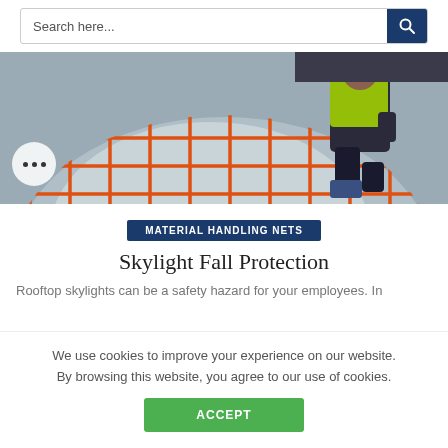Search here...
[Figure (photo): A dome-shaped skylight covered with an orange safety net grid. A worker in a high-visibility vest is visible in the background kneeling on a rooftop.]
MATERIAL HANDLING NETS
Skylight Fall Protection
Rooftop skylights can be a safety hazard for your employees. In
We use cookies to improve your experience on our website. By browsing this website, you agree to our use of cookies.
ACCEPT